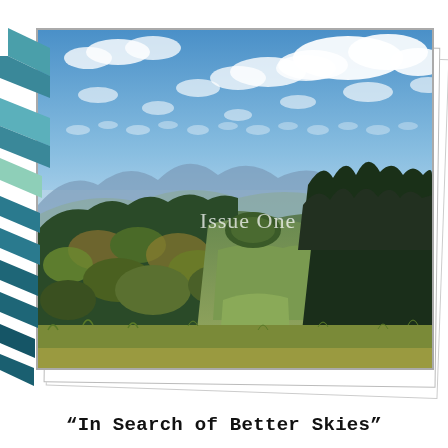[Figure (illustration): Mountain landscape photograph showing forested hills, green valley, and blue sky with white clouds. The photo is displayed as the top card in a stack of three offset white cards. The left edge of the composition features decorative teal/turquoise chevron arrow shapes. The text 'Issue One' appears as a semi-transparent watermark over the photo.]
Jennifer Neal
"In Search of Better Skies"